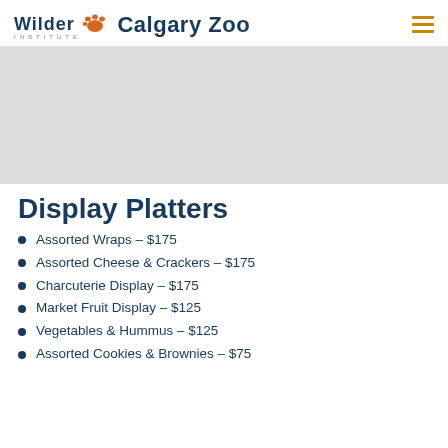Wilder Institute Calgary Zoo
[Figure (photo): Gray placeholder image, likely a banner or hero image for the Calgary Zoo catering/menu page]
Display Platters
Assorted Wraps – $175
Assorted Cheese & Crackers – $175
Charcuterie Display – $175
Market Fruit Display – $125
Vegetables & Hummus – $125
Assorted Cookies & Brownies – $75